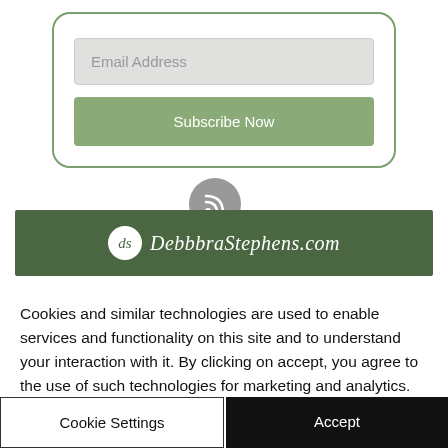[Figure (screenshot): Email subscription form with rounded green border, containing a light gray Email Address input field and a green Subscribe Now button]
[Figure (logo): Gray circular RSS icon button above a dark green banner with DebbbraStephens.com logo and text]
Cookies and similar technologies are used to enable services and functionality on this site and to understand your interaction with it. By clicking on accept, you agree to the use of such technologies for marketing and analytics.
Cookie Settings
Accept